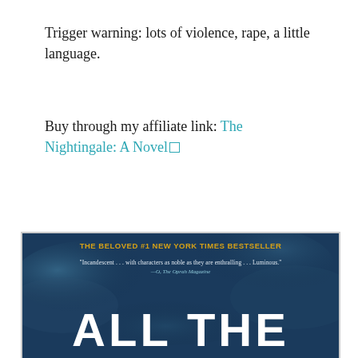Trigger warning: lots of violence, rape, a little language.
Buy through my affiliate link: The Nightingale: A Novel □
[Figure (photo): Book cover of 'All The...' (likely 'All The Light We Cannot See') showing a dark blue cloudy sky background. Yellow text at top reads 'THE BELOVED #1 NEW YORK TIMES BESTSELLER'. A quote reads '"Incandescent...with characters as noble as they are enthralling...Luminous." —O, The Oprah Magazine'. Large bold white text at bottom reads 'ALL THE'.]